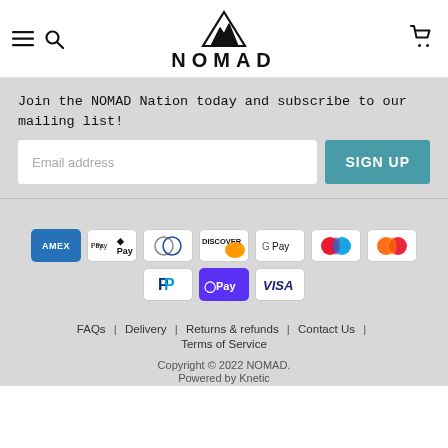[Figure (logo): NOMAD brand logo with mountain triangle icon above text NOMAD]
Join the NOMAD Nation today and subscribe to our mailing list!
[Figure (infographic): Email address input field with SIGN UP button]
[Figure (infographic): Payment method icons: American Express, Apple Pay, Diners Club, Discover, Google Pay, Mastercard (two variants), PayPal, Shop Pay, Visa]
FAQs | Delivery | Returns & refunds | Contact Us | Terms of Service
Copyright © 2022 NOMAD.
Powered by Knetic